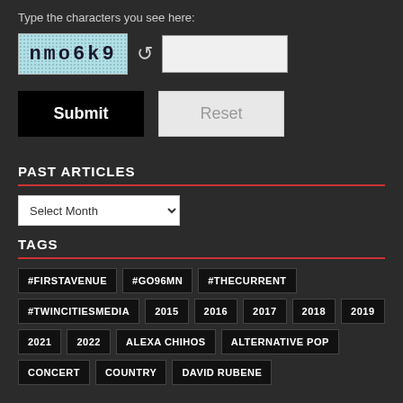Type the characters you see here:
[Figure (screenshot): CAPTCHA image showing text 'nmo6k9' on light blue speckled background, with refresh icon and text input field]
Submit | Reset
PAST ARTICLES
Select Month
TAGS
#FIRSTAVENUE
#GO96MN
#THECURRENT
#TWINCITIESMEDIA
2015
2016
2017
2018
2019
2021
2022
ALEXA CHIHOS
ALTERNATIVE POP
CONCERT
COUNTRY
DAVID RUBENE